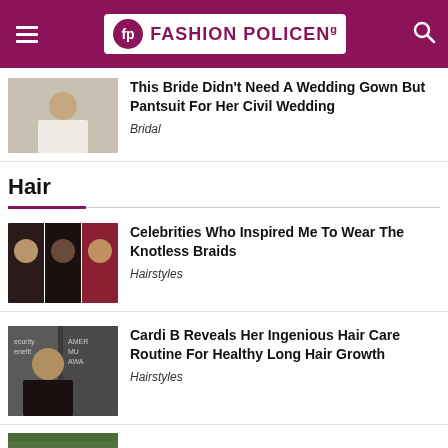Fashion Policeng
[Figure (photo): Woman in white pantsuit]
This Bride Didn't Need A Wedding Gown But Pantsuit For Her Civil Wedding
Bridal
Hair
[Figure (photo): Three celebrities with knotless braids hairstyles]
Celebrities Who Inspired Me To Wear The Knotless Braids
Hairstyles
[Figure (photo): Cardi B at American Music Awards]
Cardi B Reveals Her Ingenious Hair Care Routine For Healthy Long Hair Growth
Hairstyles
[Figure (photo): Partial thumbnail of next article]